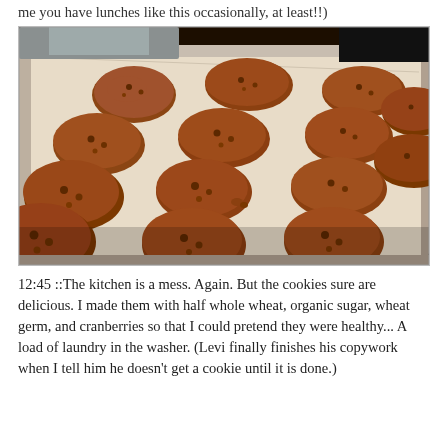me you have lunches like this occasionally, at least!!)
[Figure (photo): A baking sheet with approximately 15 freshly baked chocolate chip / cranberry cookies arranged on parchment paper, viewed from a low angle. The cookies are golden-brown. A metallic appliance is visible in the background.]
12:45 ::The kitchen is a mess. Again. But the cookies sure are delicious. I made them with half whole wheat, organic sugar, wheat germ, and cranberries so that I could pretend they were healthy... A load of laundry in the washer. (Levi finally finishes his copywork when I tell him he doesn't get a cookie until it is done.)